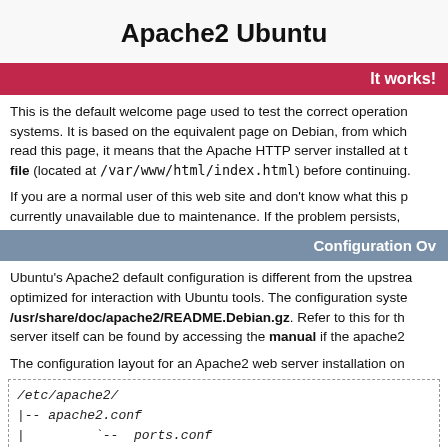Apache2 Ubuntu
It works!
This is the default welcome page used to test the correct operation of systems. It is based on the equivalent page on Debian, from which read this page, it means that the Apache HTTP server installed at this file (located at /var/www/html/index.html) before continuing.
If you are a normal user of this web site and don't know what this p currently unavailable due to maintenance. If the problem persists,
Configuration Ov
Ubuntu's Apache2 default configuration is different from the upstream optimized for interaction with Ubuntu tools. The configuration system /usr/share/doc/apache2/README.Debian.gz. Refer to this for the server itself can be found by accessing the manual if the apache2.
The configuration layout for an Apache2 web server installation on
/etc/apache2/
|-- apache2.conf
|         `--  ports.conf
|-- mods-enabled